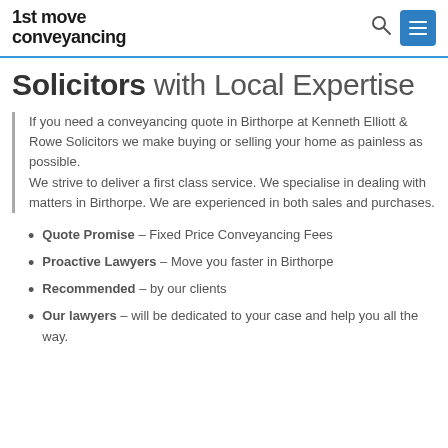1st move conveyancing
Solicitors with Local Expertise
If you need a conveyancing quote in Birthorpe at Kenneth Elliott & Rowe Solicitors we make buying or selling your home as painless as possible.
We strive to deliver a first class service. We specialise in dealing with matters in Birthorpe. We are experienced in both sales and purchases.
Quote Promise – Fixed Price Conveyancing Fees
Proactive Lawyers – Move you faster in Birthorpe
Recommended – by our clients
Our lawyers – will be dedicated to your case and help you all the way.